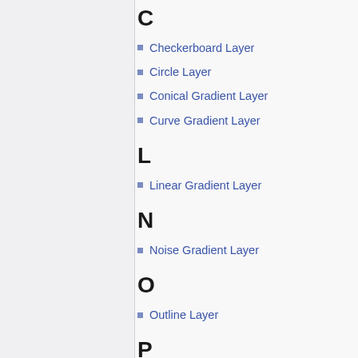C
Checkerboard Layer
Circle Layer
Conical Gradient Layer
Curve Gradient Layer
L
Linear Gradient Layer
N
Noise Gradient Layer
O
Outline Layer
P
Polygon Layer
R
Radial Gradient Layer
Rectangle Layer
Region Layer
S